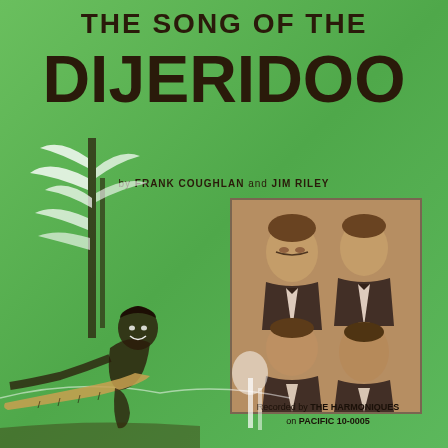THE SONG OF THE
DIJERIDOO
by FRANK COUGHLAN and JIM RILEY
[Figure (photo): Black and white photo of four men (The Harmoniques) in formal attire, arranged in two rows of two, sepia toned]
Recorded by THE HARMONIQUES on PACIFIC 10-0005
[Figure (illustration): Line drawing illustration of an Aboriginal Australian man sitting and playing a didgeridoo instrument, with trees in the background, on green background]